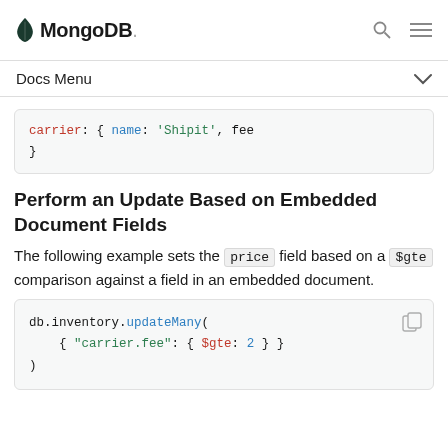MongoDB — Docs Menu
[Figure (screenshot): Truncated code block showing: carrier: { name: 'Shipit', fee ... }]
Perform an Update Based on Embedded Document Fields
The following example sets the price field based on a $gte comparison against a field in an embedded document.
[Figure (screenshot): Code block: db.inventory.updateMany( { "carrier.fee": { $gte: 2 } } )]